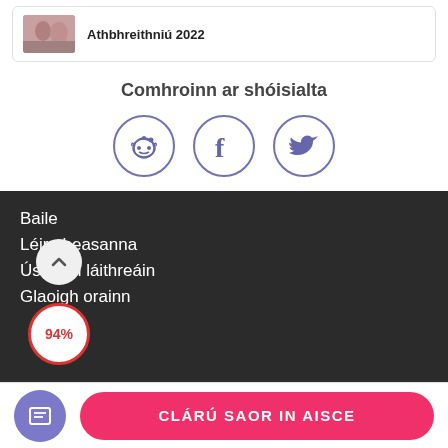[Figure (screenshot): Partial card strip with photo and bold title 'Athbhreithniú 2022' partially visible at top]
Comhroinn ar shóisialta
[Figure (illustration): Three social media icon circles: Reddit, Facebook, Twitter in purple outline style]
Baile
Léirmheasanna
Úsáil an láithreáin
Glaoigh orainn
94%
CLÁRÚ SAOR IN AISCE